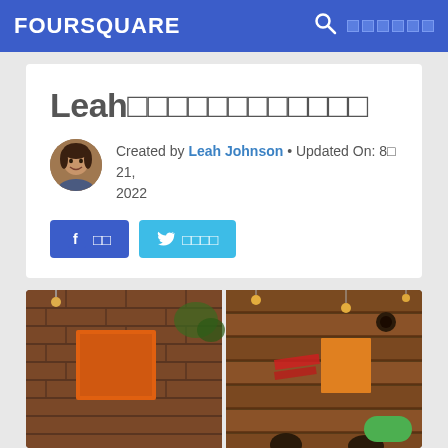FOURSQUARE
Leah□□□□□□□□□□□□
Created by Leah Johnson • Updated On: 8□ 21, 2022
[Figure (photo): Interior restaurant photos showing brick wall with artwork and wooden wall with colorful light art and hanging Edison bulbs]
공유 (Facebook button) | 트윗하기 (Twitter button)